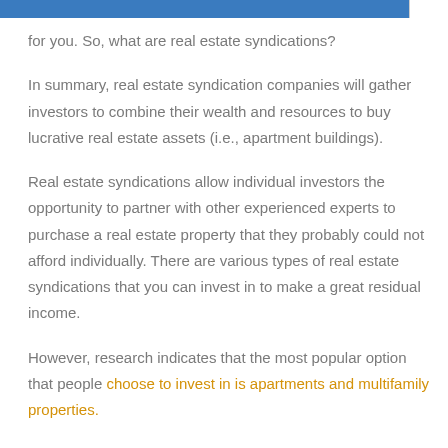for you. So, what are real estate syndications?
In summary, real estate syndication companies will gather investors to combine their wealth and resources to buy lucrative real estate assets (i.e., apartment buildings).
Real estate syndications allow individual investors the opportunity to partner with other experienced experts to purchase a real estate property that they probably could not afford individually. There are various types of real estate syndications that you can invest in to make a great residual income.
However, research indicates that the most popular option that people choose to invest in is apartments and multifamily properties.